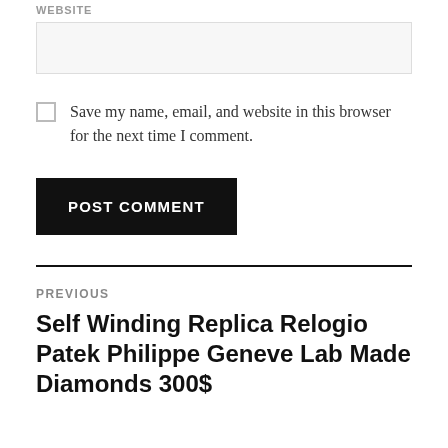WEBSITE
Save my name, email, and website in this browser for the next time I comment.
POST COMMENT
PREVIOUS
Self Winding Replica Relogio Patek Philippe Geneve Lab Made Diamonds 300$